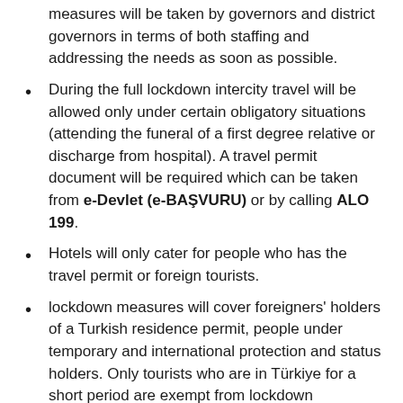measures will be taken by governors and district governors in terms of both staffing and addressing the needs as soon as possible.
During the full lockdown intercity travel will be allowed only under certain obligatory situations (attending the funeral of a first degree relative or discharge from hospital). A travel permit document will be required which can be taken from e-Devlet (e-BAŞVURU) or by calling ALO 199.
Hotels will only cater for people who has the travel permit or foreign tourists.
lockdown measures will cover foreigners' holders of a Turkish residence permit, people under temporary and international protection and status holders. Only tourists who are in Türkiye for a short period are exempt from lockdown measures.
Issuing false documents showing that the workplaces are exempted, Making fake appointments from private health institutions, Use of bakery, market